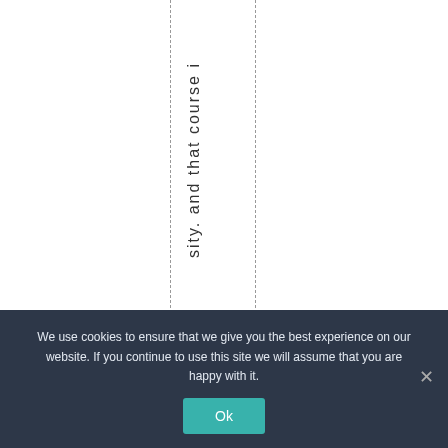sity. and that course i
We use cookies to ensure that we give you the best experience on our website. If you continue to use this site we will assume that you are happy with it.